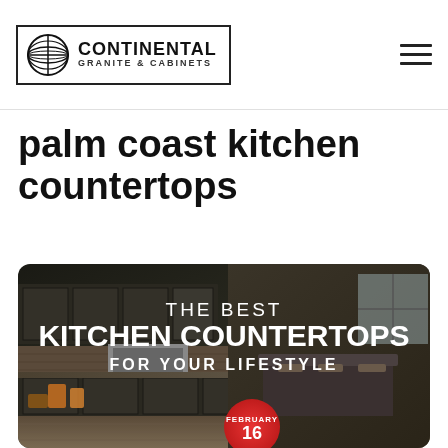Continental Granite & Cabinets
palm coast kitchen countertops
[Figure (photo): Blog post thumbnail image for 'The Best Kitchen Countertops For Your Lifestyle' showing a dark-cabinet kitchen with granite countertops and an island. A red circular badge reads 'February 16'.]